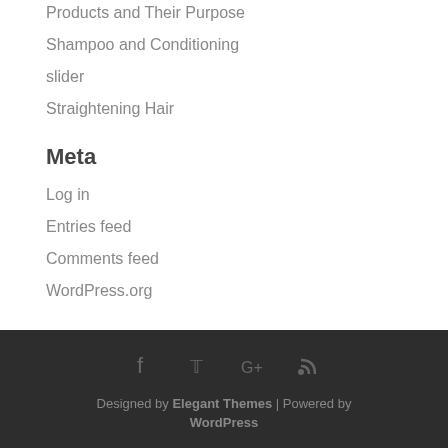Products and Their Purpose
Shampoo and Conditioning
slider
Straightening Hair
Meta
Log in
Entries feed
Comments feed
WordPress.org
Designed by Elegant Themes | Powered by WordPress